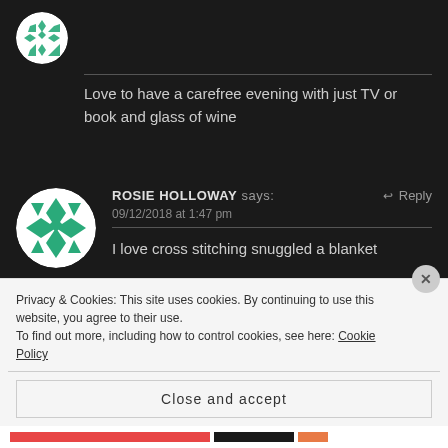[Figure (illustration): Circular avatar with green geometric cross-stitch pattern on white background, partially visible at top]
Love to have a carefree evening with just TV or book and glass of wine
[Figure (illustration): Circular avatar with green geometric cross-stitch pattern on white background]
ROSIE HOLLOWAY says:
09/12/2018 at 1:47 pm
I love cross stitching snuggled a blanket
Privacy & Cookies: This site uses cookies. By continuing to use this website, you agree to their use.
To find out more, including how to control cookies, see here: Cookie Policy
Close and accept